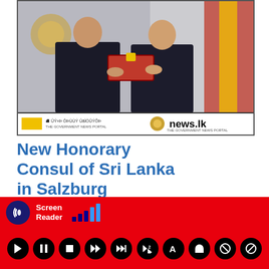[Figure (photo): Two men in dark suits exchanging a red gift box/document, with Sri Lanka-related emblems and flags visible in the background. A banner at the bottom shows the news.lk government news portal logo.]
New Honorary Consul of Sri Lanka in Salzburg appointed
July 10, 2022
[Figure (screenshot): Screen Reader accessibility toolbar with signal bars icon, play/pause/stop controls and other accessibility buttons on a red background.]